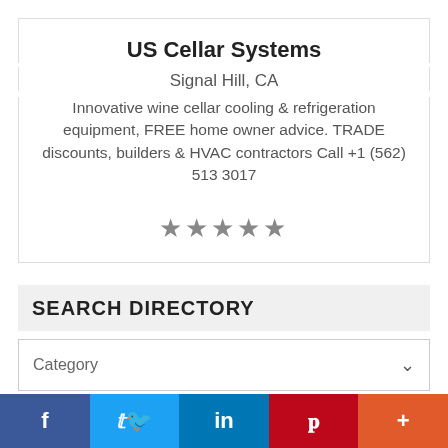US Cellar Systems
Signal Hill, CA
Innovative wine cellar cooling & refrigeration equipment, FREE home owner advice. TRADE discounts, builders & HVAC contractors Call +1 (562) 513 3017
[Figure (other): Five star rating displayed as grey star icons]
SEARCH DIRECTORY
Category
Keywords
Postal Code
[Figure (infographic): Social media sharing bar with Facebook, Twitter, LinkedIn, Pinterest, and More buttons]